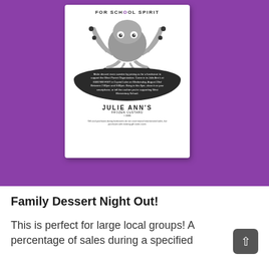[Figure (illustration): A purple background with a white flyer card showing an octopus illustration, text about a fundraiser for the West Parent Organization at Julie Ann's Frozen Custard on August 23rd, and the Julie Ann's logo]
Family Dessert Night Out!
This is perfect for large local groups! A percentage of sales during a specified